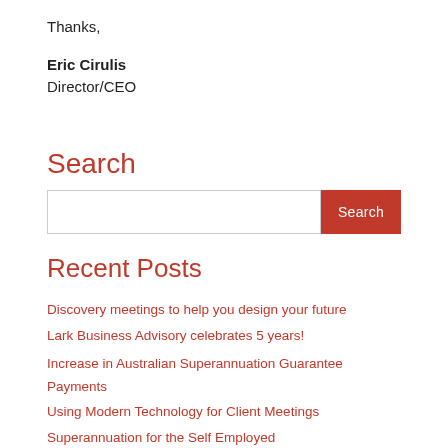Thanks,
Eric Cirulis
Director/CEO
Search
[Search input and button]
Recent Posts
Discovery meetings to help you design your future
Lark Business Advisory celebrates 5 years!
Increase in Australian Superannuation Guarantee Payments
Using Modern Technology for Client Meetings
Superannuation for the Self Employed